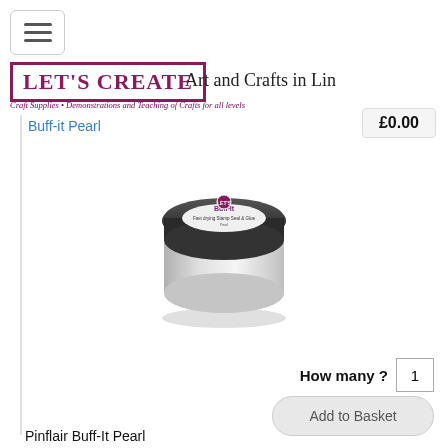[Figure (screenshot): Hamburger menu icon button with three horizontal lines]
[Figure (logo): Let's Create logo in purple/maroon box with serif text]
Art and Crafts in Lin
Craft Supplies • Demonstrations and Teaching of Crafts for all levels
Buff-it Pearl
£0.00
[Figure (photo): Circular tin/jar of Buff-It Pearl product with black lid and white label showing 'Buff-It' text]
How many ? 1
Add to Basket
Pinflair Buff-It Pearl